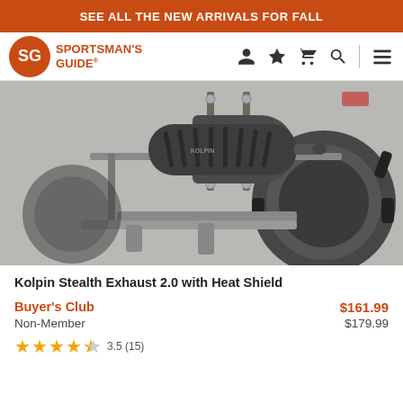SEE ALL THE NEW ARRIVALS FOR FALL
[Figure (logo): Sportsman's Guide logo with SG badge and brand name]
[Figure (photo): Kolpin Stealth Exhaust 2.0 with Heat Shield mounted on an ATV, showing the cylindrical black exhaust device with slotted heat shield, attached to the rear of an ATV with large knobby tires]
Kolpin Stealth Exhaust 2.0 with Heat Shield
Buyer's Club  $161.99
Non-Member  $179.99
3.5 (15) stars rating